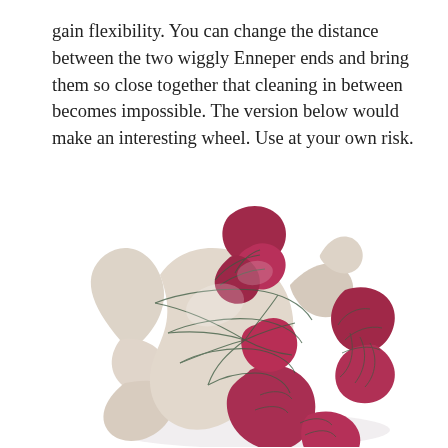gain flexibility. You can change the distance between the two wiggly Enneper ends and bring them so close together that cleaning in between becomes impossible. The version below would make an interesting wheel. Use at your own risk.
[Figure (illustration): A 3D rendered mathematical surface resembling an Enneper surface or minimal surface with two intertwined lobed forms. The surface has cream/beige coloring on one part and deep magenta/crimson coloring on another, with dark green parametric grid lines drawn across the surface. The shape is complex and organic, with curling lobes and saddle-like geometry, set against a white background.]